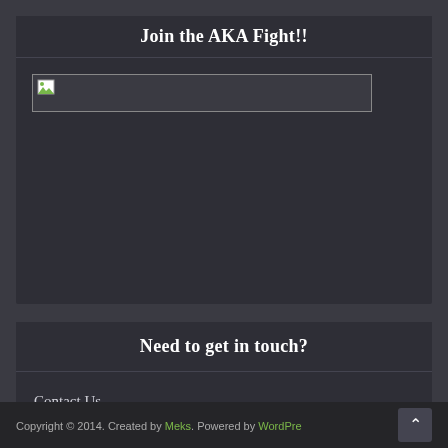Join the AKA Fight!!
[Figure (photo): Broken image placeholder with border, showing a small broken image icon in the top-left corner]
Need to get in touch?
Contact Us
Copyright © 2014. Created by Meks. Powered by WordPre